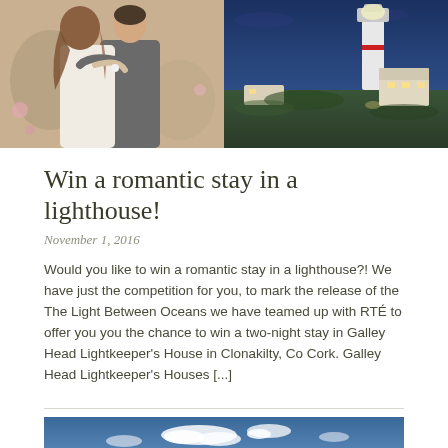[Figure (photo): Two photos side by side: left shows a couple embracing (bride in white dress, groom in grey suit) among flowers; right shows a white lighthouse at dusk/night with green grounds and buildings lit up]
Win a romantic stay in a lighthouse!
November 1, 2016
Would you like to win a romantic stay in a lighthouse?! We have just the competition for you, to mark the release of the The Light Between Oceans we have teamed up with RTÉ to offer you you the chance to win a two-night stay in Galley Head Lightkeeper's House in Clonakilty, Co Cork. Galley Head Lightkeeper's Houses [...]
[Figure (photo): Blue sky with white clouds and landscape below]